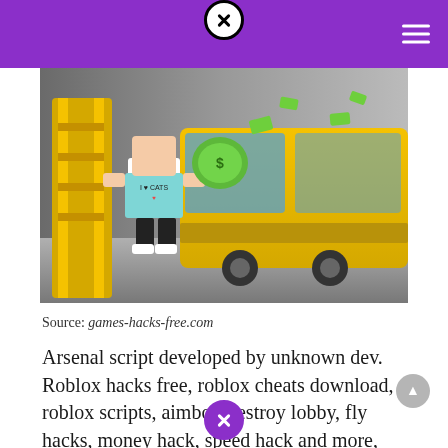[Figure (screenshot): Roblox game screenshot showing a blocky character holding green money bags, next to a large yellow train. The character wears a teal 'I Love Cats' t-shirt.]
Source: games-hacks-free.com
Arsenal script developed by unknown dev. Roblox hacks free, roblox cheats download, roblox scripts, aimbot, destroy lobby, fly hacks, money hack, speed hack and more, download cheat now.roblox arsenal hack is a free to use hack script created for roblox.with some cool.